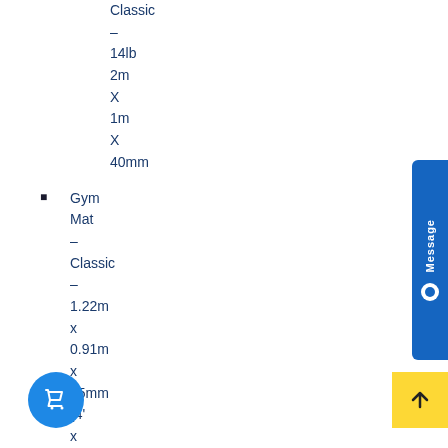Classic – 14lb 2m X 1m X 40mm
Gym Mat – Classic – 1.22m x 0.91m x 25mm (4' x 3' x 1")
Gym Mat – Classic –